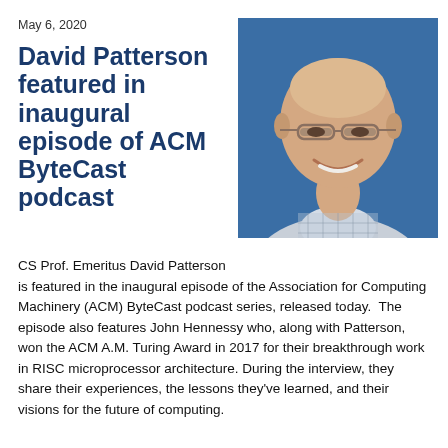May 6, 2020
David Patterson featured in inaugural episode of ACM ByteCast podcast
[Figure (photo): Headshot of David Patterson, a smiling bald man wearing glasses and a light plaid shirt, against a blue background.]
CS Prof. Emeritus David Patterson is featured in the inaugural episode of the Association for Computing Machinery (ACM) ByteCast podcast series, released today.  The episode also features John Hennessy who, along with Patterson, won the ACM A.M. Turing Award in 2017 for their breakthrough work in RISC microprocessor architecture. During the interview, they share their experiences, the lessons they've learned, and their visions for the future of computing.